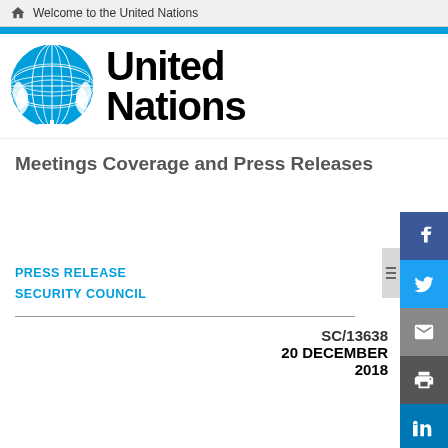Welcome to the United Nations
[Figure (logo): United Nations emblem logo in blue, circular globe with olive branches]
United Nations
Meetings Coverage and Press Releases
PRESS RELEASE
SECURITY COUNCIL
SC/13638
20 DECEMBER
2018